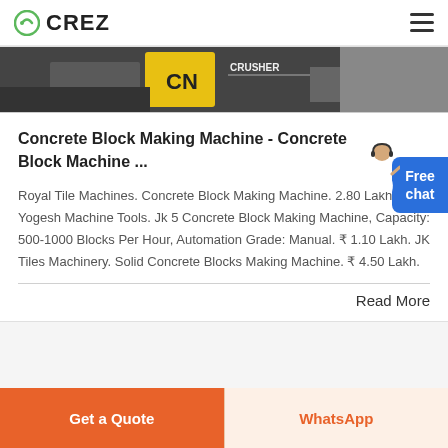CREZ
[Figure (photo): Partial product image showing industrial crusher/block making machine with yellow and black branding, partially cropped at top of card]
Concrete Block Making Machine - Concrete Block Machine ...
Royal Tile Machines. Concrete Block Making Machine. 2.80 Lakh. Yogesh Machine Tools. Jk 5 Concrete Block Making Machine, Capacity: 500-1000 Blocks Per Hour, Automation Grade: Manual. ₹ 1.10 Lakh. JK Tiles Machinery. Solid Concrete Blocks Making Machine. ₹ 4.50 Lakh.
Read More